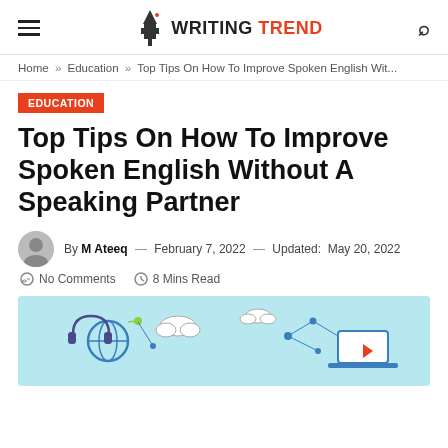WRITING TREND
Home » Education » Top Tips On How To Improve Spoken English Wit...
EDUCATION
Top Tips On How To Improve Spoken English Without A Speaking Partner
By M Ateeq — February 7, 2022 — Updated: May 20, 2022
No Comments   8 Mins Read
[Figure (illustration): Featured image with light blue background showing language/education icons including headphones, globe, cloud, laptop, and decorative doodles]